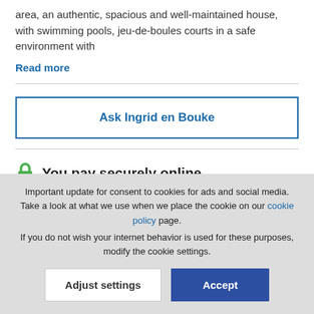area, an authentic, spacious and well-maintained house, with swimming pools, jeu-de-boules courts in a safe environment with
Read more
Ask Ingrid en Bouke
You pay securely online
Important update for consent to cookies for ads and social media. Take a look at what we use when we place the cookie on our cookie policy page.
If you do not wish your internet behavior is used for these purposes, modify the cookie settings.
Adjust settings
Accept